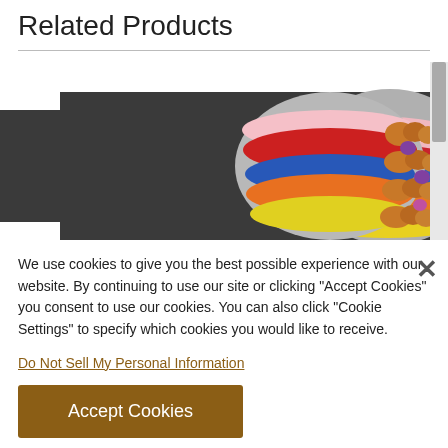Related Products
[Figure (illustration): Cross-section illustration of a multi-conductor electrical cable showing black outer jacket, grey inner layer, and multiple color-coded insulated conductors (pink, red, blue, orange, yellow, green, purple) with copper wire ends visible on the right side. A vertical scrollbar is visible on the far right.]
We use cookies to give you the best possible experience with our website. By continuing to use our site or clicking “Accept Cookies” you consent to use our cookies. You can also click “Cookie Settings” to specify which cookies you would like to receive.
Do Not Sell My Personal Information
Accept Cookies